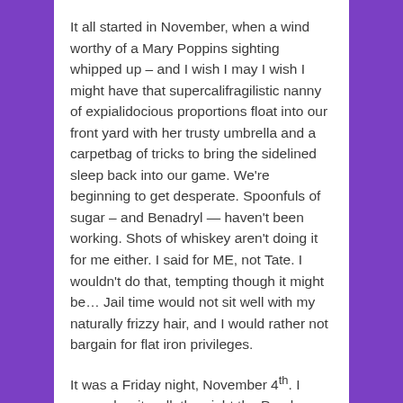It all started in November, when a wind worthy of a Mary Poppins sighting whipped up – and I wish I may I wish I might have that supercalifragilistic nanny of expialidocious proportions float into our front yard with her trusty umbrella and a carpetbag of tricks to bring the sidelined sleep back into our game. We're beginning to get desperate. Spoonfuls of sugar – and Benadryl — haven't been working. Shots of whiskey aren't doing it for me either. I said for ME, not Tate. I wouldn't do that, tempting though it might be… Jail time would not sit well with my naturally frizzy hair, and I would rather not bargain for flat iron privileges.
It was a Friday night, November 4th. I remember it well: the night the Purple Hurricanes won a decisive region championship over Troup County and three of the four members of our immediate family...